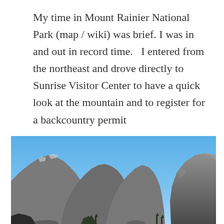My time in Mount Rainier National Park (map / wiki) was brief. I was in and out in record time.   I entered from the northeast and drove directly to Sunrise Visitor Center to have a quick look at the mountain and to register for a backcountry permit
[Figure (photo): Photograph of rugged mountain peaks with rocky grey ridgelines under a clear blue sky, taken from an elevated vantage point. Green conifer trees visible at the base of the peaks. Multiple jagged summits visible across the frame.]